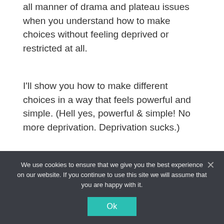This Masterclass will school you on how to avoid all manner of drama and plateau issues when you understand how to make choices without feeling deprived or restricted at all.
I'll show you how to make different choices in a way that feels powerful and simple. (Hell yes, powerful & simple! No more deprivation. Deprivation sucks.)
After participating in this Masterclass, you will know exactly what steps to take to ensure that you can create and manage the results you
We use cookies to ensure that we give you the best experience on our website. If you continue to use this site we will assume that you are happy with it.
Ok